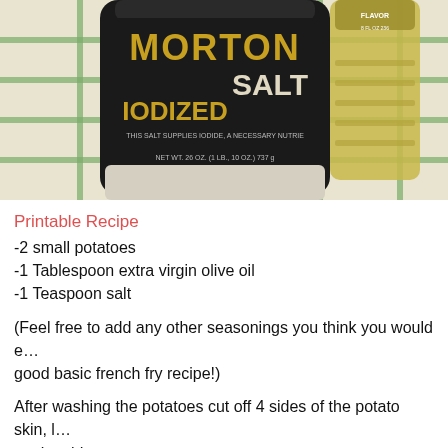[Figure (photo): Morton Iodized Salt container and a bottle of oil on a green checkered cloth background]
Printable Recipe
-2 small potatoes
-1 Tablespoon extra virgin olive oil
-1 Teaspoon salt
(Feel free to add any other seasonings you think you would enjoy! This is just a good basic french fry recipe!)
After washing the potatoes cut off 4 sides of the potato skin, leaving the skin on the sides.
[Figure (photo): Close-up of green checkered cloth background, partially visible]